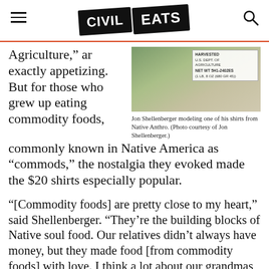Civil Eats
Agriculture," are exactly appetizing. But for those who grew up eating commodity foods, commonly known in Native America as “commods,” the nostalgia they evoked made the $20 shirts especially popular.
[Figure (photo): Jon Shellenberger modeling one of his shirts from Native Anthro, showing a food commodity label on a white shirt]
Jon Shellenberger modeling one of his shirts from Native Anthro. (Photo courtesy of Jon Shellenberger.)
“[Commodity foods] are pretty close to my heart,” said Shellenberger. “They’re the building blocks of Native soul food. Our relatives didn’t always have money, but they made food [from commodity foods] with love. I think a lot about our grandmas, our moms, and our aunties.